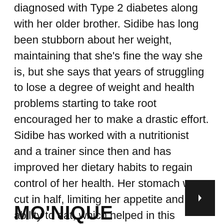diagnosed with Type 2 diabetes along with her older brother. Sidibe has long been stubborn about her weight, maintaining that she's fine the way she is, but she says that years of struggling to lose a degree of weight and health problems starting to take root encouraged her to make a drastic effort. Sidibe has worked with a nutritionist and a trainer since then and has improved her dietary habits to regain control of her health. Her stomach was cut in half, limiting her appetite and ability to eat, which helped in this process.
MO'NIQUE